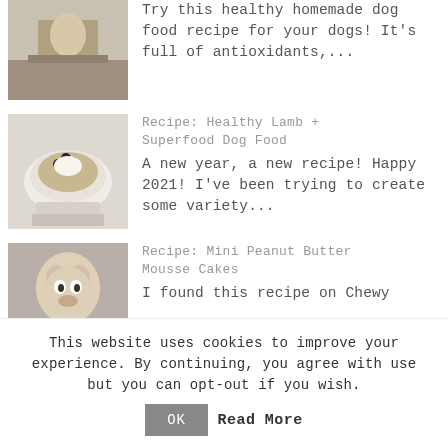[Figure (photo): Photo of a dog near a kitchen counter]
Try this healthy homemade dog food recipe for your dogs! It's full of antioxidants,...
[Figure (photo): Photo of a white bowl with dog food topped with berries and cream]
Recipe: Healthy Lamb + Superfood Dog Food
A new year, a new recipe! Happy 2021! I've been trying to create some variety...
[Figure (photo): Photo of a French bulldog peering over a plate of mini cakes]
Recipe: Mini Peanut Butter Mousse Cakes
I found this recipe on Chewy
This website uses cookies to improve your experience. By continuing, you agree with use but you can opt-out if you wish.